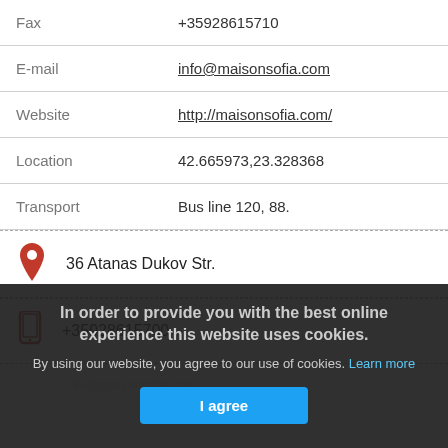| Field | Value |
| --- | --- |
| Fax | +35928615710 |
| E-mail | info@maisonsofia.com |
| Website | http://maisonsofia.com/ |
| Location | 42.665973,23.328368 |
| Transport | Bus line 120, 88. |
36 Atanas Dukov Str.
+35928615700
In order to provide you with the best online experience this website uses cookies.
By using our website, you agree to our use of cookies. Learn more
I agree